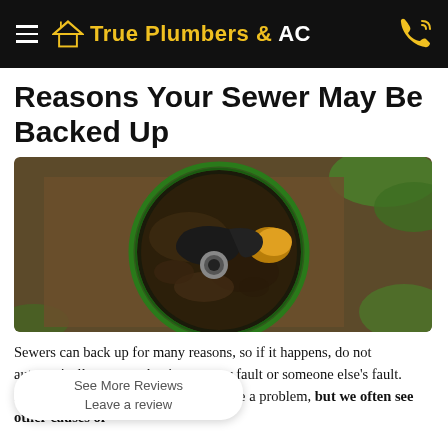True Plumbers & AC
Reasons Your Sewer May Be Backed Up
[Figure (photo): Overhead view of an open sewer access point, a circular green-rimmed hole filled with dark muddy water, debris, and a black shoe, with a pipe visible in the center, surrounded by dirt and grass.]
Sewers can back up for many reasons, so if it happens, do not automatically assume that it was your fault or someone else's fault. Foreign objects being flushed can cause a problem, but we often see other causes of
See More Reviews
Leave a review